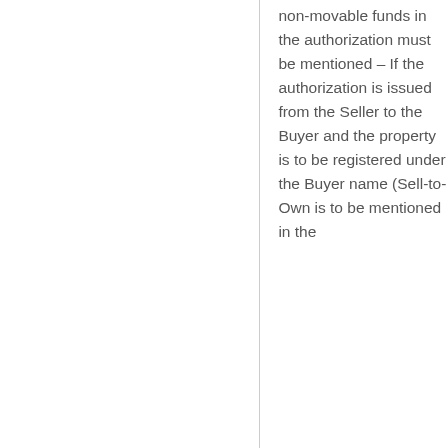non-movable funds in the authorization must be mentioned – If the authorization is issued from the Seller to the Buyer and the property is to be registered under the Buyer name (Sell-to-Own is to be mentioned in the